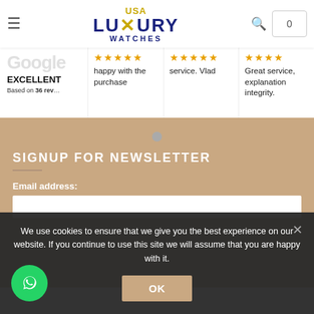USA Luxury Watches
EXCELLENT
Based on 36 rev...
happy with the purchase
service. Vlad
Great service, explanation integrity.
SIGNUP FOR NEWSLETTER
Email address:
We use cookies to ensure that we give you the best experience on our website. If you continue to use this site we will assume that you are happy with it.
OK